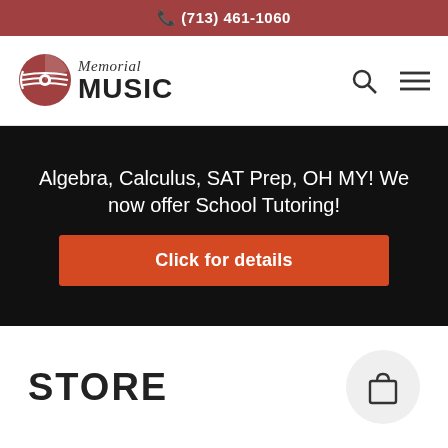(713) 461-1060
[Figure (logo): Memorial Music logo with circular disc icon and text 'Memorial MUSIC']
Algebra, Calculus, SAT Prep, OH MY! We now offer School Tutoring!
Click for details
STORE